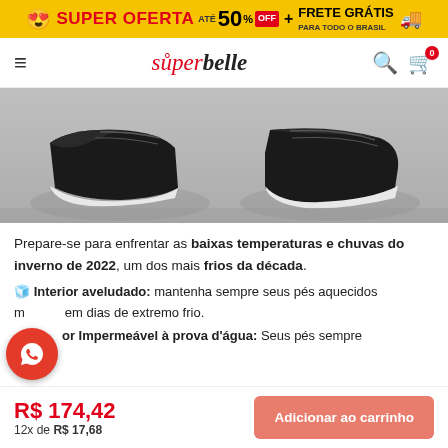😍 SUPER OFERTA até 50% OFF + FRETE GRÁTIS PARA TODO O BRASIL 🚚
[Figure (logo): Superbelle store logo with hamburger menu, search and cart icons]
[Figure (photo): Black and white photo of feet wearing black sneakers on a textured surface]
Prepare-se para enfrentar as baixas temperaturas e chuvas do inverno de 2022, um dos mais frios da década.
🧊 Interior aveludado: mantenha sempre seus pés aquecidos m em dias de extremo frio.
or Impermeável à prova d'água: Seus pés sempre
R$ 174,42
12x de R$ 17,68
Adicionar ao carrinho